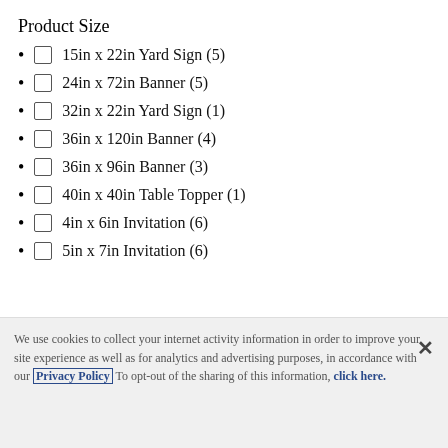Product Size
15in x 22in Yard Sign (5)
24in x 72in Banner (5)
32in x 22in Yard Sign (1)
36in x 120in Banner (4)
36in x 96in Banner (3)
40in x 40in Table Topper (1)
4in x 6in Invitation (6)
5in x 7in Invitation (6)
We use cookies to collect your internet activity information in order to improve your site experience as well as for analytics and advertising purposes, in accordance with our Privacy Policy  To opt-out of the sharing of this information, click here.